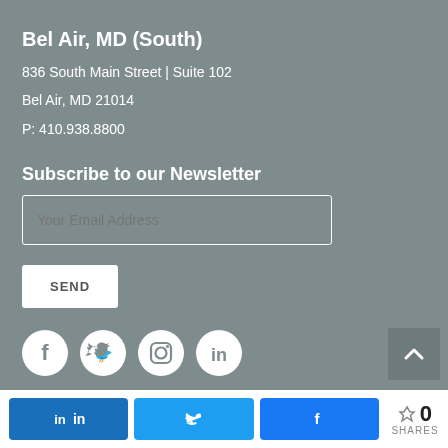Bel Air, MD (South)
836 South Main Street | Suite 102
Bel Air, MD 21014
P: 410.938.8800
Subscribe to our Newsletter
Your Email Address
SEND
[Figure (other): Social media icons: Facebook, Twitter, Instagram, LinkedIn]
[Figure (other): Back to top arrow button]
in  (LinkedIn share)  |  Twitter share  |  Facebook share  |  0 SHARES